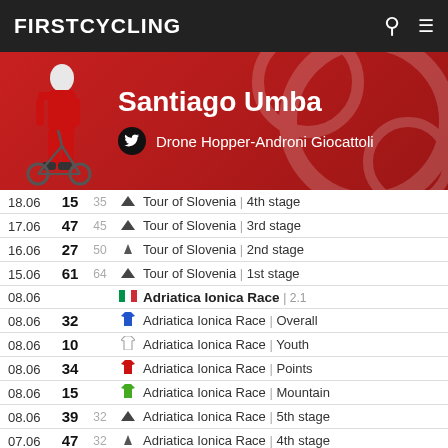FIRSTCYCLING
Santiago Umba
Drone Hopper-Androni Giocattoli
| Date | Pos | PCS | Icon | Race |
| --- | --- | --- | --- | --- |
| 18.06 | 15 | 35 | mountain | Tour of Slovenia | 4th stage |
| 17.06 | 47 | 45 | mountain | Tour of Slovenia | 3rd stage |
| 16.06 | 27 | 50 | mountain | Tour of Slovenia | 2nd stage |
| 15.06 | 61 | 64 | mountain | Tour of Slovenia | 1st stage |
| 08.06 |  |  | flag-it | Adriatica Ionica Race | 2.1 |
| 08.06 | 32 |  | jersey-blue | Adriatica Ionica Race | Overall |
| 08.06 | 10 |  | jersey-white | Adriatica Ionica Race | Youth |
| 08.06 | 34 |  | jersey-red | Adriatica Ionica Race | Points |
| 08.06 | 15 |  | jersey-green | Adriatica Ionica Race | Mountain |
| 08.06 | 39 | 32 | mountain | Adriatica Ionica Race | 5th stage |
| 07.06 | 47 | 32 | mountain | Adriatica Ionica Race | 4th stage |
| 06.06 | 30 | 29 | mountain | Adriatica Ionica Race | 3rd stage |
| 05.06 | 45 | 39 | mountain | Adriatica Ionica Race | 2nd stage |